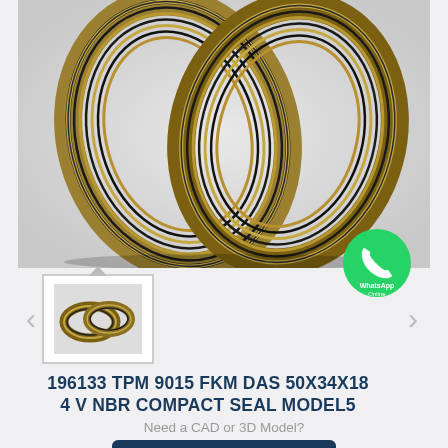[Figure (photo): Two interlocked compact seal rings with gold/tan and black striped pattern, shown on white background]
[Figure (photo): Small thumbnail image of two compact seal rings (gold/bronze colored) shown in thumbnail gallery]
196133 TPM 9015 FKM DAS 50X34X18 4 V NBR COMPACT SEAL MODEL5
Need a CAD or 3D Model?
Contact Now
WhatsApp
Be Our Agent